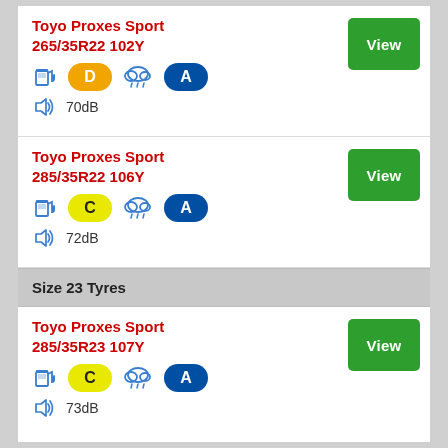Toyo Proxes Sport 265/35R22 102Y — D, A, 70dB — View
Toyo Proxes Sport 285/35R22 106Y — C, A, 72dB — View
Size 23 Tyres
Toyo Proxes Sport 285/35R23 107Y — C, A, 73dB — View